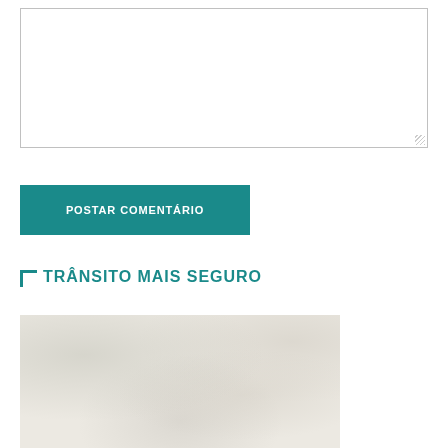[Figure (screenshot): Empty textarea input box with resize handle in bottom-right corner]
POSTAR COMENTÁRIO
TRÂNSITO MAIS SEGURO
[Figure (photo): Textured light-colored surface photo, appears to be a close-up of a road or material texture]